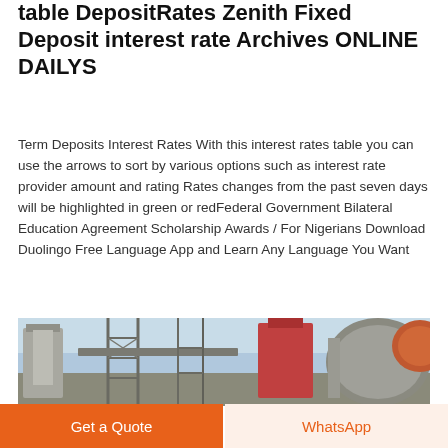table DepositRates Zenith Fixed Deposit interest rate Archives ONLINE DAILYS
Term Deposits Interest Rates With this interest rates table you can use the arrows to sort by various options such as interest rate provider amount and rating Rates changes from the past seven days will be highlighted in green or redFederal Government Bilateral Education Agreement Scholarship Awards / For Nigerians Download Duolingo Free Language App and Learn Any Language You Want
[Figure (other): Get Price button with black border on white background]
[Figure (photo): Industrial facility exterior showing metal scaffolding, pipes, storage tanks and structures under a partly cloudy sky]
Get a Quote
WhatsApp